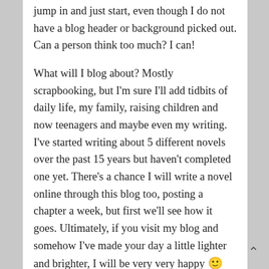jump in and just start, even though I do not have a blog header or background picked out.  Can a person think too much?  I can!
What will I blog about? Mostly scrapbooking, but I'm sure I'll add tidbits of daily life, my family, raising children and now teenagers and maybe even my writing.  I've started writing about 5 different novels over the past 15 years but haven't completed one yet. There's a chance I will write a novel online through this blog too, posting a chapter a week, but first we'll see how it goes. Ultimately, if you visit my blog and somehow I've made your day a little lighter and brighter, I will be very very happy 🙂
Lately, my scrapbooking has been put on a back shelf because of a new work contract, but right now I have a